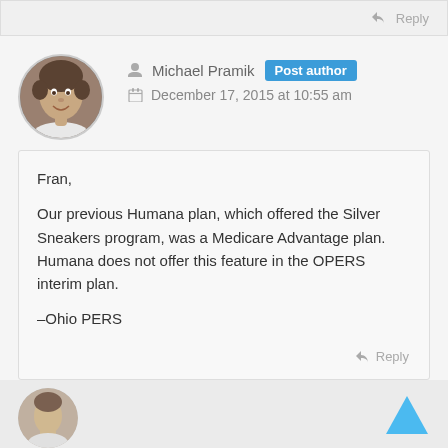Reply
[Figure (photo): Round avatar photo of Michael Pramik, a middle-aged man smiling, wearing a white shirt]
Michael Pramik  Post author
December 17, 2015 at 10:55 am
Fran,

Our previous Humana plan, which offered the Silver Sneakers program, was a Medicare Advantage plan. Humana does not offer this feature in the OPERS interim plan.

–Ohio PERS
Reply